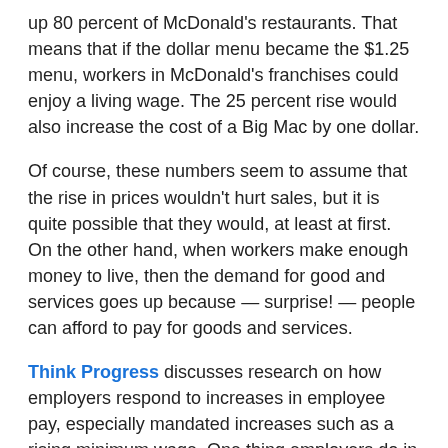up 80 percent of McDonald's restaurants. That means that if the dollar menu became the $1.25 menu, workers in McDonald's franchises could enjoy a living wage. The 25 percent rise would also increase the cost of a Big Mac by one dollar.
Of course, these numbers seem to assume that the rise in prices wouldn't hurt sales, but it is quite possible that they would, at least at first. On the other hand, when workers make enough money to live, then the demand for good and services goes up because — surprise! — people can afford to pay for goods and services.
Think Progress discusses research on how employers respond to increases in employee pay, especially mandated increases such as a rising minimum wage. One thing employers do in response to having to pay workers more is increase their prices. But even when they do so, they do not go out of business as a result.